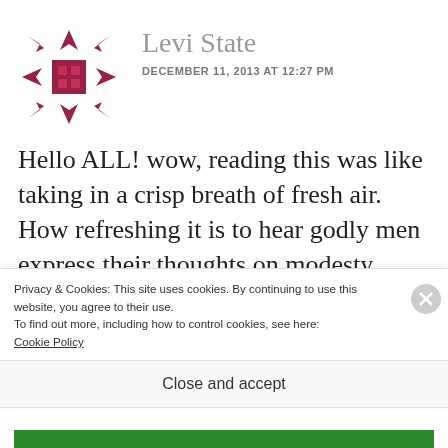[Figure (logo): Red/crimson geometric snowflake-like avatar logo for Levi State]
Levi State
DECEMBER 11, 2013 AT 12:27 PM
Hello ALL! wow, reading this was like taking in a crisp breath of fresh air. How refreshing it is to hear godly men express their thoughts on modesty. Beings I'm just now reading this (as a friend of mine posted on her FB feed) I
Privacy & Cookies: This site uses cookies. By continuing to use this website, you agree to their use.
To find out more, including how to control cookies, see here:
Cookie Policy
Close and accept